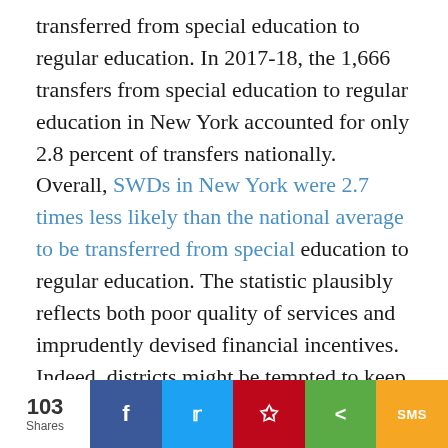transferred from special education to regular education. In 2017-18, the 1,666 transfers from special education to regular education in New York accounted for only 2.8 percent of transfers nationally. Overall, SWDs in New York were 2.7 times less likely than the national average to be transferred from special education to regular education. The statistic plausibly reflects both poor quality of services and imprudently devised financial incentives. Indeed, districts might be tempted to keep students in special education for the same reason they advocate for their placement there.
Special education and related services have been
103 Shares | f | tweet | Pinterest | share | SMS